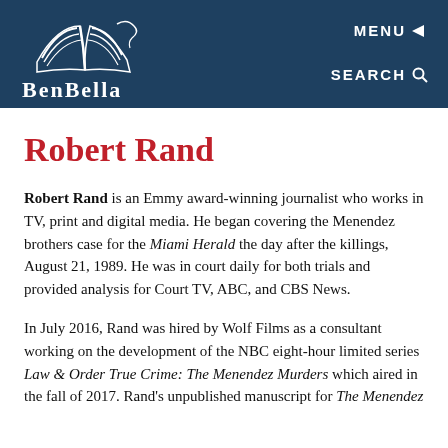[Figure (logo): BenBella Books logo with open book icon and BENBELLA text, white on dark teal background, with MENU and SEARCH navigation buttons]
Robert Rand
Robert Rand is an Emmy award-winning journalist who works in TV, print and digital media. He began covering the Menendez brothers case for the Miami Herald the day after the killings, August 21, 1989. He was in court daily for both trials and provided analysis for Court TV, ABC, and CBS News.
In July 2016, Rand was hired by Wolf Films as a consultant working on the development of the NBC eight-hour limited series Law & Order True Crime: The Menendez Murders which aired in the fall of 2017. Rand's unpublished manuscript for The Menendez